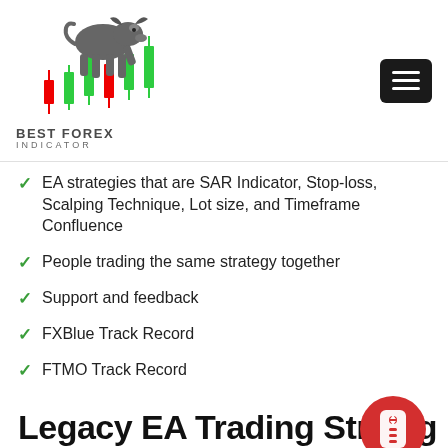[Figure (logo): Best Forex Indicator logo with bull and candlestick chart graphic, text reads BEST FOREX INDICATOR]
EA strategies that are SAR Indicator, Stop-loss, Scalping Technique, Lot size, and Timeframe Confluence
People trading the same strategy together
Support and feedback
FXBlue Track Record
FTMO Track Record
Legacy EA Trading Strategy
This portion of Legacy EA Review will surely consist of